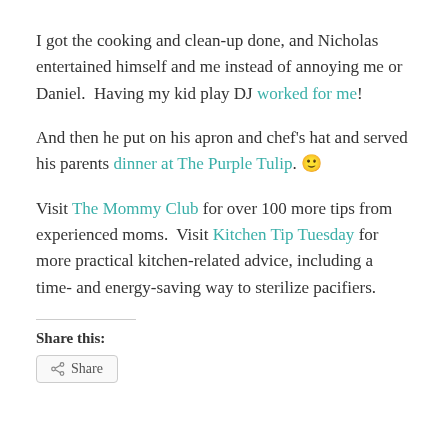I got the cooking and clean-up done, and Nicholas entertained himself and me instead of annoying me or Daniel.  Having my kid play DJ worked for me!
And then he put on his apron and chef's hat and served his parents dinner at The Purple Tulip. 🙂
Visit The Mommy Club for over 100 more tips from experienced moms.  Visit Kitchen Tip Tuesday for more practical kitchen-related advice, including a time- and energy-saving way to sterilize pacifiers.
Share this: